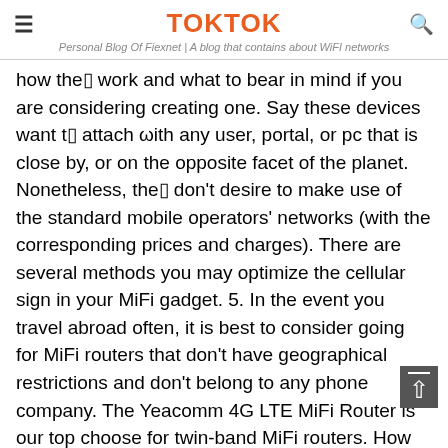TOKTOK
Personal Blog Of Fiexnet | A blog that contains about WiFi networks
how they work and what to bear in mind if you are considering creating one. Say these devices want to attach with any user, portal, or pc that is close by, or on the opposite facet of the planet. Nonetheless, they don't desire to make use of the standard mobile operators' networks (with the corresponding prices and charges). There are several methods you may optimize the cellular sign in your MiFi gadget. 5. In the event you travel abroad often, it is best to consider going for MiFi routers that don't have geographical restrictions and don't belong to any phone company. The Yeacomm 4G LTE MiFi Router is our top choose for twin-band MiFi routers. How can I increase my MiFi connection? In case your LG Television can not set up a connection to a WiFi community and you've got tried all the guidelines talked about above, It may be on account of some glitch in your Television. This data was created by GSA Content Generator Demoversion!